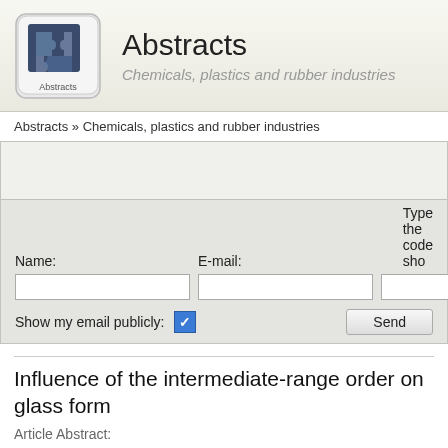[Figure (logo): Abstracts logo — puzzle pieces icon with 'Abstracts' text below, on a keyboard-key style background]
Abstracts
Chemicals, plastics and rubber industries
Abstracts » Chemicals, plastics and rubber industries
Name:   E-mail:   Type the code sho
Show my email publicly:  [checkbox]  Send
Influence of the intermediate-range order on glass form
Article Abstract:
A demonstration of an enhanced icosahedral intermediate-range orde